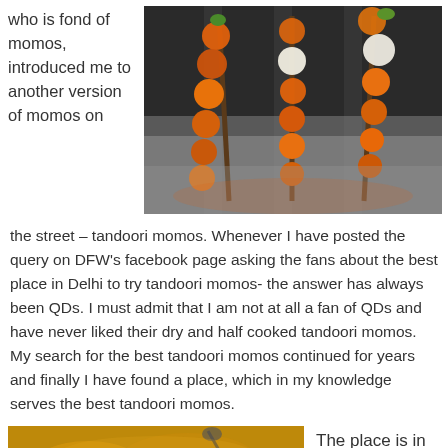who is fond of momos, introduced me to another version of momos on
[Figure (photo): Tandoori momos on skewers grilling on a charcoal grill, with orange-colored tikka-style momos and green and white vegetables on metal skewers]
the street – tandoori momos. Whenever I have posted the query on DFW's facebook page asking the fans about the best place in Delhi to try tandoori momos- the answer has always been QDs. I must admit that I am not at all a fan of QDs and have never liked their dry and half cooked tandoori momos. My search for the best tandoori momos continued for years and finally I have found a place, which in my knowledge serves the best tandoori momos.
[Figure (photo): Close-up photo of a food dish, appears to be a gravy or curry dish with momos, yellowish-orange sauce visible in a bowl or plate]
The place is in C-7